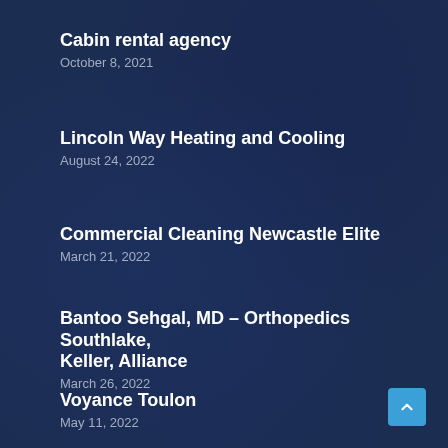Cabin rental agency
October 8, 2021
Lincoln Way Heating and Cooling
August 24, 2022
Commercial Cleaning Newcastle Elite
March 21, 2022
Bantoo Sehgal, MD – Orthopedics Southlake, Keller, Alliance
March 26, 2022
Voyance Toulon
May 11, 2022